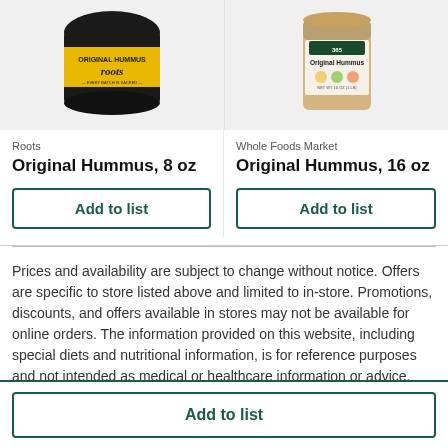[Figure (photo): Two product images at top: left shows Roots Original Hummus black container, right shows Whole Foods Market Original Hummus container]
Roots
Original Hummus, 8 oz
Whole Foods Market
Original Hummus, 16 oz
Add to list
Add to list
Prices and availability are subject to change without notice. Offers are specific to store listed above and limited to in-store. Promotions, discounts, and offers available in stores may not be available for online orders. The information provided on this website, including special diets and nutritional information, is for reference purposes and not intended as medical or healthcare information or advice.
Add to list